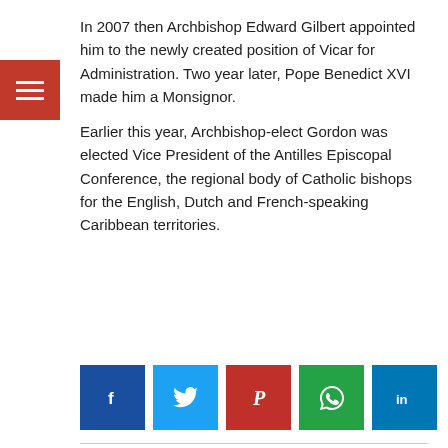In 2007 then Archbishop Edward Gilbert appointed him to the newly created position of Vicar for Administration. Two year later, Pope Benedict XVI made him a Monsignor.
Earlier this year, Archbishop-elect Gordon was elected Vice President of the Antilles Episcopal Conference, the regional body of Catholic bishops for the English, Dutch and French-speaking Caribbean territories.
[Figure (other): Row of social media share buttons: Facebook (blue), Twitter (light blue), Pinterest (red), WhatsApp (green), LinkedIn (blue)]
Related posts
[Figure (photo): Gray placeholder image for a related post thumbnail with date badge showing August 22, 2022]